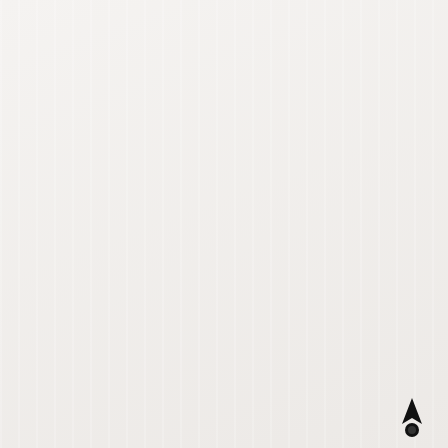[Figure (illustration): A sheet of decorative self-adhesive half-pearls arranged in a grid pattern. Top ~5 rows: red/crimson pearls. Middle ~6 rows: mint/teal pearls. Bottom ~5 rows: silver/metallic pearls. Each row has approximately 13 pearls. A small black logo (arrowhead/rocket icon) appears in the bottom-right corner.]